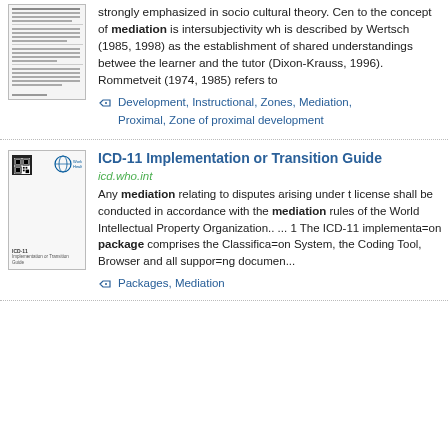[Figure (illustration): Thumbnail of a document page with dense text lines]
strongly emphasized in socio cultural theory. Central to the concept of mediation is intersubjectivity which is described by Wertsch (1985, 1998) as the establishment of shared understandings between the learner and the tutor (Dixon-Krauss, 1996). Rommetveit (1974, 1985) refers to
Development, Instructional, Zones, Mediation, Proximal, Zone of proximal development
[Figure (illustration): Thumbnail of ICD-11 Implementation or Transition Guide cover with WHO logo and QR code]
ICD-11 Implementation or Transition Guide
icd.who.int
Any mediation relating to disputes arising under the license shall be conducted in accordance with the mediation rules of the World Intellectual Property Organization.. ... 1 The ICD-11 implementa=on package comprises the Classifica=on System, the Coding Tool, Browser and all suppor=ng documen...
Packages, Mediation